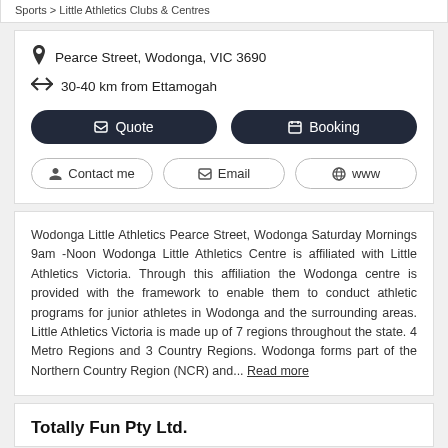Sports > Little Athletics Clubs & Centres
Pearce Street, Wodonga, VIC 3690
30-40 km from Ettamogah
Quote | Booking
Contact me | Email | www
Wodonga Little Athletics Pearce Street, Wodonga Saturday Mornings 9am -Noon Wodonga Little Athletics Centre is affiliated with Little Athletics Victoria. Through this affiliation the Wodonga centre is provided with the framework to enable them to conduct athletic programs for junior athletes in Wodonga and the surrounding areas. Little Athletics Victoria is made up of 7 regions throughout the state. 4 Metro Regions and 3 Country Regions. Wodonga forms part of the Northern Country Region (NCR) and... Read more
Totally Fun Pty Ltd.